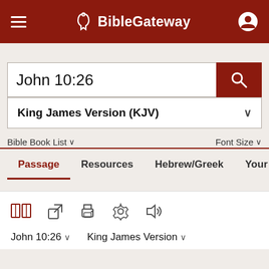BibleGateway
John 10:26
King James Version (KJV)
Bible Book List  Font Size
Passage  Resources  Hebrew/Greek  Your Cont
John 10:26  King James Version